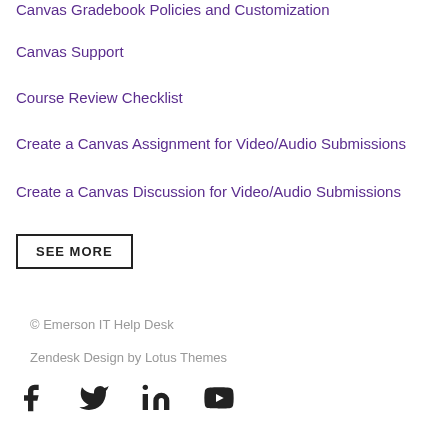Canvas Gradebook Policies and Customization
Canvas Support
Course Review Checklist
Create a Canvas Assignment for Video/Audio Submissions
Create a Canvas Discussion for Video/Audio Submissions
SEE MORE
© Emerson IT Help Desk
Zendesk Design by Lotus Themes